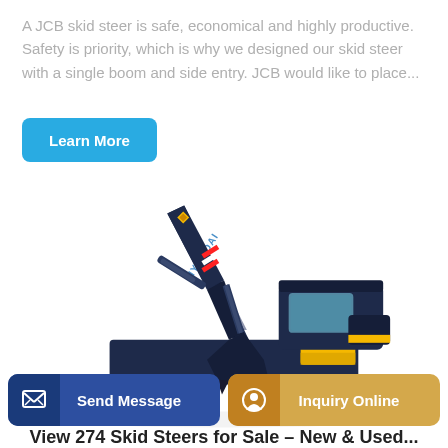A JCB skid steer is safe, economical and highly productive. Safety is priority, which is why we designed our skid steer with a single boom and side entry. JCB would like to place...
Learn More
[Figure (photo): A large Hyundai crawler excavator with dark navy/black body and yellow accents, shown in profile view with bucket lowered and arm extended upward.]
Send Message
Inquiry Online
View 274 Skid Steers for Sale - New & Used...